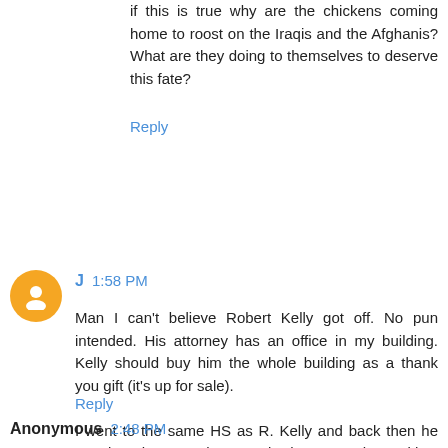if this is true why are the chickens coming home to roost on the Iraqis and the Afghanis? What are they doing to themselves to deserve this fate?
Reply
J  1:58 PM
Man I can't believe Robert Kelly got off. No pun intended. His attorney has an office in my building. Kelly should buy him the whole building as a thank you gift (it's up for sale).

I went to the same HS as R. Kelly and back then he was just the guy who sang in the xmas show with a bad curl. Who knew he'd turn into a guy with a successful music and video career!
Reply
Anonymous  2:48 PM
@ Francis Holland: